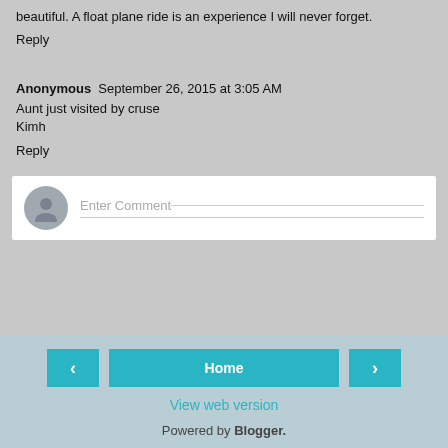beautiful. A float plane ride is an experience I will never forget.
Reply
Anonymous  September 26, 2015 at 3:05 AM
Aunt just visited by cruse
Kimh
Reply
[Figure (other): Enter Comment input box with avatar icon]
[Figure (other): Navigation bar with left arrow button, Home button, right arrow button]
View web version
Powered by Blogger.